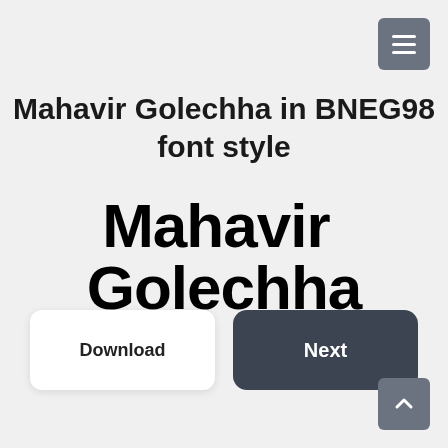[Figure (other): Hamburger menu button icon, three horizontal white lines on gray square background, top right corner]
Mahavir Golechha in BNEG98 font style
[Figure (other): Large text preview showing 'Mahavir  Golechha' in a rounded bold black font style (BNEG98)]
Download
Next
[Figure (other): Scroll-to-top button with upward arrow icon on gray square background, bottom right corner]